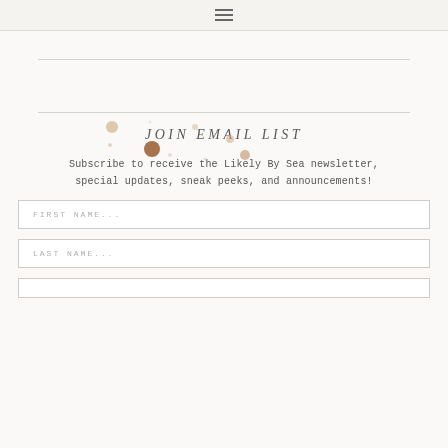≡
JOIN EMAIL LIST
Subscribe to receive the Likely By Sea newsletter, special updates, sneak peeks, and announcements!
FIRST NAME...
LAST NAME...